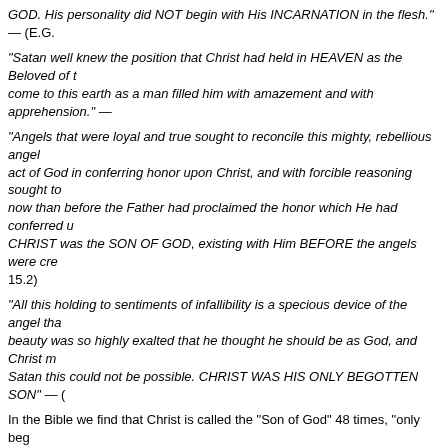GOD. His personality did NOT begin with His INCARNATION in the flesh." — (E.G.
"Satan well knew the position that Christ had held in HEAVEN as the Beloved of t... come to this earth as a man filled him with amazement and with apprehension." —
"Angels that were loyal and true sought to reconcile this mighty, rebellious angel... act of God in conferring honor upon Christ, and with forcible reasoning sought to... now than before the Father had proclaimed the honor which He had conferred u... CHRIST was the SON OF GOD, existing with Him BEFORE the angels were cre... 15.2)
"All this holding to sentiments of infallibility is a specious device of the angel tha... beauty was so highly exalted that he thought he should be as God, and Christ m... Satan this could not be possible. CHRIST WAS HIS ONLY BEGOTTEN SON" — (
In the Bible we find that Christ is called the "Son of God" 48 times, "only beg... firstbegotten" 1 time. Not once does the Bible even so much as hint that Jesus is... director of the Adventist BRI stated. The Bible means what it says and says what i
And she stated, "God is the Father of Christ; Christ is the Son of God." — (E.G. W
The Adventist Church has in fact apostatized and rejected Biblical truth that God g
Copy to Clipboard
Does the SDA Church Teach 3 gods that are 1 god?
Some Adventist Trinitarians try and hide the fact that the SDA Church teaches the... Church via Satan which is not honest.